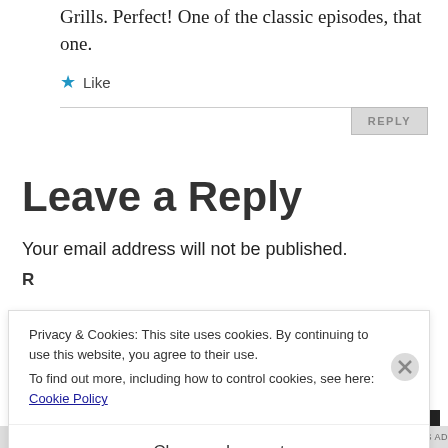Grills. Perfect! One of the classic episodes, that one.
★ Like
REPLY
Leave a Reply
Your email address will not be published.
R
Privacy & Cookies: This site uses cookies. By continuing to use this website, you agree to their use.
To find out more, including how to control cookies, see here: Cookie Policy
Close and accept